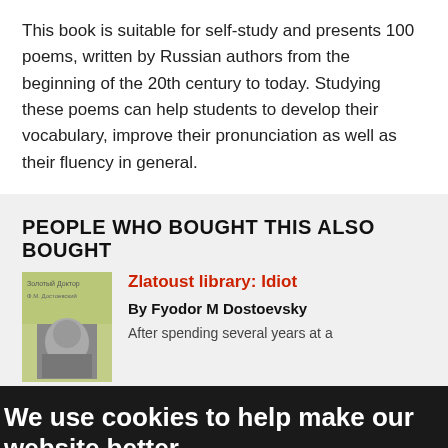This book is suitable for self-study and presents 100 poems, written by Russian authors from the beginning of the 20th century to today. Studying these poems can help students to develop their vocabulary, improve their pronunciation as well as their fluency in general.
PEOPLE WHO BOUGHT THIS ALSO BOUGHT
Zlatoust library: Idiot
By Fyodor M Dostoevsky
After spending several years at a
We use cookies to help make our website better.
We use cookies to help make our website better. At the moment, your preferences allow us to use cookies. If you are happy with this please click here or simply continue to use our website. Otherwise find out more and amend your preferences here.